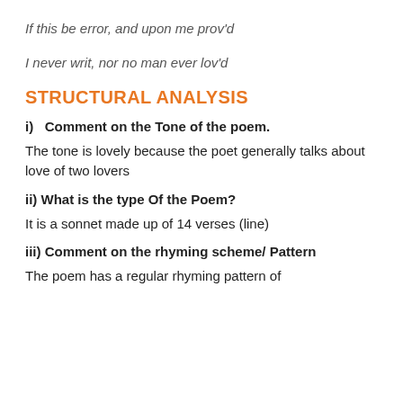If this be error, and upon me prov'd
I never writ, nor no man ever lov'd
STRUCTURAL ANALYSIS
i)   Comment on the Tone of the poem.
The tone is lovely because the poet generally talks about love of two lovers
ii) What is the type Of the Poem?
It is a sonnet made up of 14 verses (line)
iii) Comment on the rhyming scheme/ Pattern
The poem has a regular rhyming pattern of